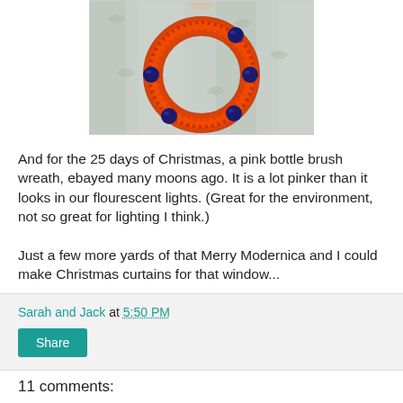[Figure (photo): A red/pink bottle brush wreath with dark blue ornament balls, hanging on a floral curtain backdrop]
And for the 25 days of Christmas, a pink bottle brush wreath, ebayed many moons ago. It is a lot pinker than it looks in our flourescent lights. (Great for the environment, not so great for lighting I think.)
Just a few more yards of that Merry Modernica and I could make Christmas curtains for that window...
Sarah and Jack at 5:50 PM
Share
11 comments: